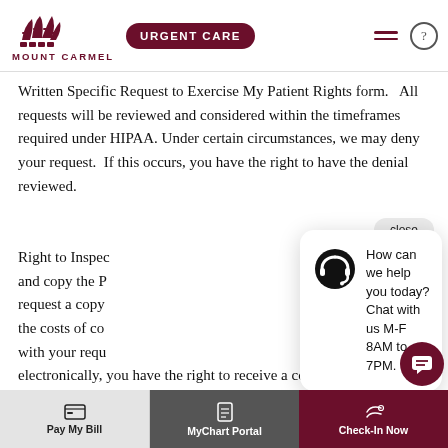MOUNT CARMEL — URGENT CARE
Written Specific Request to Exercise My Patient Rights form.   All requests will be reviewed and considered within the timeframes required under HIPAA. Under certain circumstances, we may deny your request.  If this occurs, you have the right to have the denial reviewed.
Right to Inspect [and copy the P...] request a copy [...] the costs of co[...] with your requ[...] electronically, you have the right to receive a copy of such information in an electronic format. Additionally, y[...]
[Figure (screenshot): Chat popup with headset icon and text: How can we help you today? Chat with us M-F 8AM to 7PM.]
Pay My Bill | MyChart Portal | Check-In Now